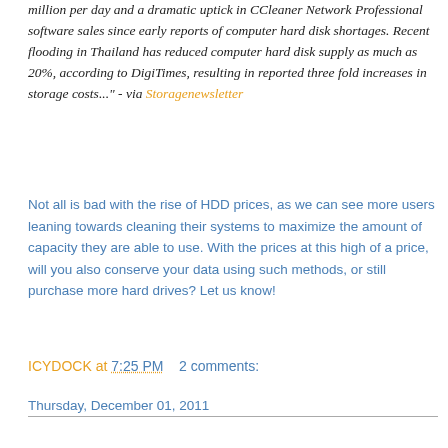million per day and a dramatic uptick in CCleaner Network Professional software sales since early reports of computer hard disk shortages. Recent flooding in Thailand has reduced computer hard disk supply as much as 20%, according to DigiTimes, resulting in reported three fold increases in storage costs..." - via Storagenewsletter
Not all is bad with the rise of HDD prices, as we can see more users leaning towards cleaning their systems to maximize the amount of capacity they are able to use. With the prices at this high of a price, will you also conserve your data using such methods, or still purchase more hard drives? Let us know!
ICYDOCK at 7:25 PM   2 comments:
Thursday, December 01, 2011
MB662USEB-2S-1 review - posted by storagereview.com